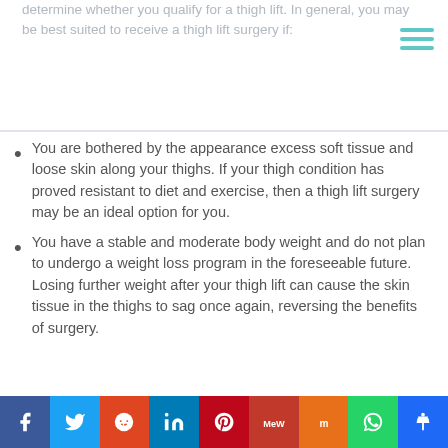determine whether you qualify for a thigh lift. In general, you may be best suited to receive a thigh lift surgery if:
You are bothered by the appearance excess soft tissue and loose skin along your thighs. If your thigh condition has proved resistant to diet and exercise, then a thigh lift surgery may be an ideal option for you.
You have a stable and moderate body weight and do not plan to undergo a weight loss program in the foreseeable future. Losing further weight after your thigh lift can cause the skin tissue in the thighs to sag once again, reversing the benefits of surgery.